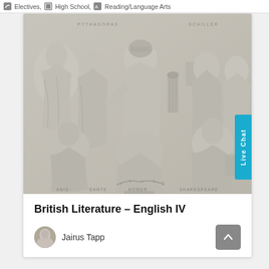Electives, High School, Reading/Language Arts
[Figure (photo): Classical stone relief sculpture showing multiple robed figures including poets and scholars. Inscriptions at the bottom identify figures such as Dante, Homer, and Shakespeare. A 'Live Chat' button overlays the right side.]
British Literature – English IV
Jairus Tapp